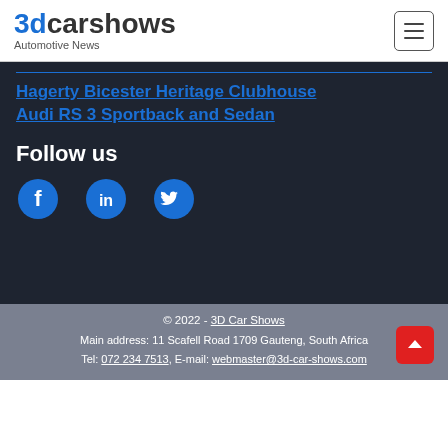3dcarshows Automotive News
Hagerty Bicester Heritage Clubhouse
Audi RS 3 Sportback and Sedan
Follow us
[Figure (illustration): Social media icons: Facebook, LinkedIn, Twitter]
© 2022 - 3D Car Shows
Main address: 11 Scafell Road 1709 Gauteng, South Africa
Tel: 072 234 7513, E-mail: webmaster@3d-car-shows.com